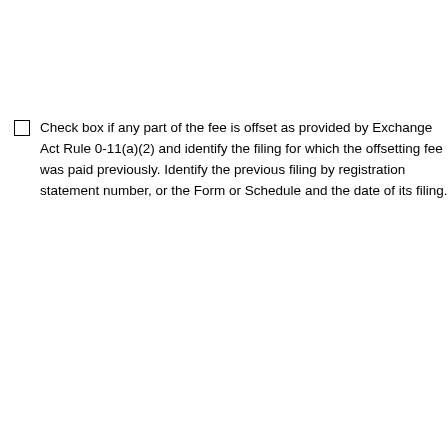Check box if any part of the fee is offset as provided by Exchange Act Rule 0-11(a)(2) and identify the filing for which the offsetting fee was paid previously. Identify the previous filing by registration statement number, or the Form or Schedule and the date of its filing.